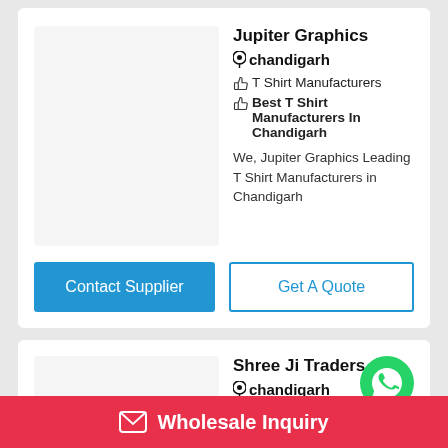Jupiter Graphics
📍 chandigarh
👍 T Shirt Manufacturers
👍 Best T Shirt Manufacturers In Chandigarh
We, Jupiter Graphics Leading T Shirt Manufacturers in Chandigarh
Contact Supplier
Get A Quote
Shree Ji Traders
📍 chandigarh
👍 Manufacturer Of Boys
[Figure (logo): WhatsApp green circle icon]
✉ Wholesale Inquiry